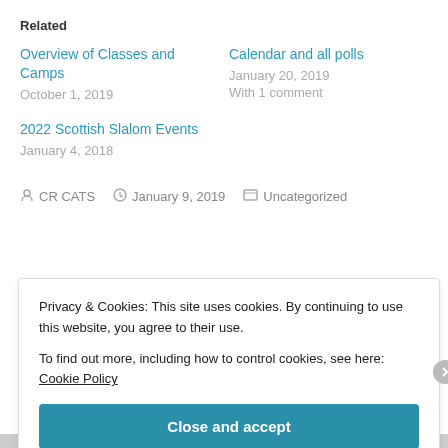Related
Overview of Classes and Camps
October 1, 2019
Calendar and all polls
January 20, 2019
With 1 comment
2022 Scottish Slalom Events
January 4, 2018
CR CATS   January 9, 2019   Uncategorized
Privacy & Cookies: This site uses cookies. By continuing to use this website, you agree to their use.
To find out more, including how to control cookies, see here: Cookie Policy
Close and accept